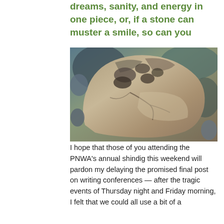dreams, sanity, and energy in one piece, or, if a stone can muster a smile, so can you
[Figure (photo): A large rough stone or rock with uneven, textured surface, appearing to have facial features suggested by natural formations. The rock has a brownish-grey color with darker patches.]
I hope that those of you attending the PNWA's annual shindig this weekend will pardon my delaying the promised final post on writing conferences — after the tragic events of Thursday night and Friday morning, I felt that we could all use a bit of a